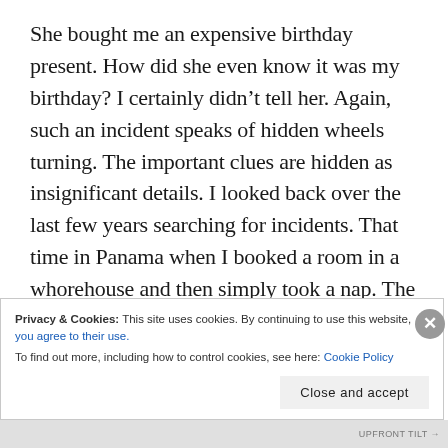She bought me an expensive birthday present. How did she even know it was my birthday? I certainly didn't tell her. Again, such an incident speaks of hidden wheels turning. The important clues are hidden as insignificant details. I looked back over the last few years searching for incidents. That time in Panama when I booked a room in a whorehouse and then simply took a nap. The lady in Argentina whom I talked about forming a business partnership with but then abruptly stopped communicating. Might these people have harbored grudges?
Privacy & Cookies: This site uses cookies. By continuing to use this website, you agree to their use.
To find out more, including how to control cookies, see here: Cookie Policy
Close and accept